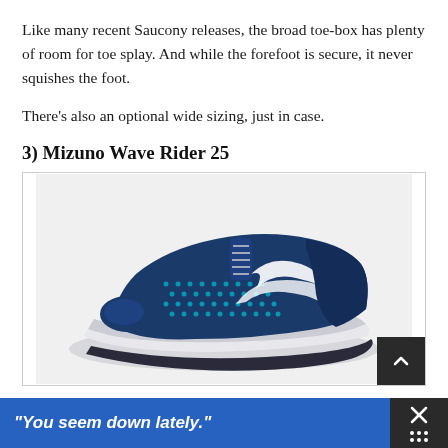Like many recent Saucony releases, the broad toe-box has plenty of room for toe splay. And while the forefoot is secure, it never squishes the foot.
There’s also an optional wide sizing, just in case.
3) Mizuno Wave Rider 25
[Figure (photo): Photo of a Mizuno Wave Rider 25 running shoe in navy blue and teal/cyan colorway with white midsole, shown from lateral side view against white background. A dark scroll-up button appears in the bottom-right corner of the image frame.]
“You seem down lately.”